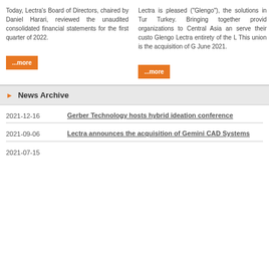Today, Lectra's Board of Directors, chaired by Daniel Harari, reviewed the unaudited consolidated financial statements for the first quarter of 2022.
...more
Lectra is pleased ("Glengo"), the solutions in Turkey. Turkey. Bringing together providing organizations to Central Asia and serve their customers. Glengo Lectra entirety of the L. This union is the acquisition of G June 2021.
...more
News Archive
2021-12-16 — Gerber Technology hosts hybrid ideation conference
2021-09-06 — Lectra announces the acquisition of Gemini CAD Systems
2021-07-15